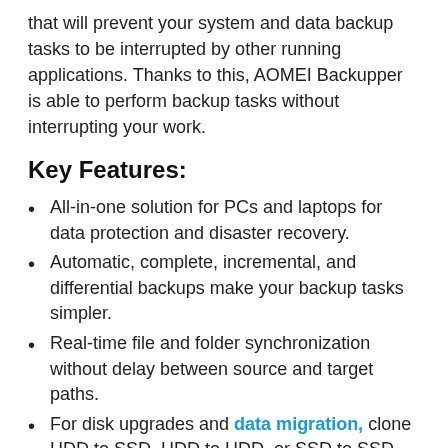that will prevent your system and data backup tasks to be interrupted by other running applications. Thanks to this, AOMEI Backupper is able to perform backup tasks without interrupting your work.
Key Features:
All-in-one solution for PCs and laptops for data protection and disaster recovery.
Automatic, complete, incremental, and differential backups make your backup tasks simpler.
Real-time file and folder synchronization without delay between source and target paths.
For disk upgrades and data migration, clone HDD to SSD, HDD to HDD, or SSD to SSD.
Create a bootable WinPE or Linux drive for bare-bones or computers that can not be booted.
Windows 10 support, Windows 8.1/8, Windows 7, Vista, and XP support.